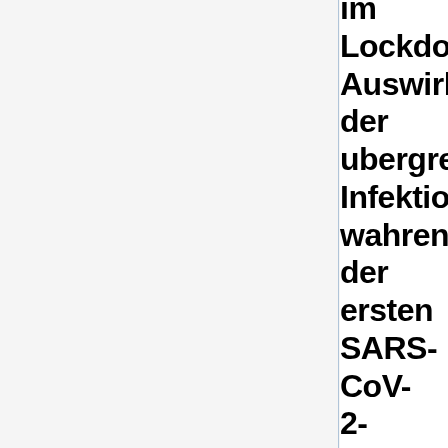im Lockdown Auswirkungen der ubergreifenden Infektionen wahrend der ersten SARS-CoV-2-